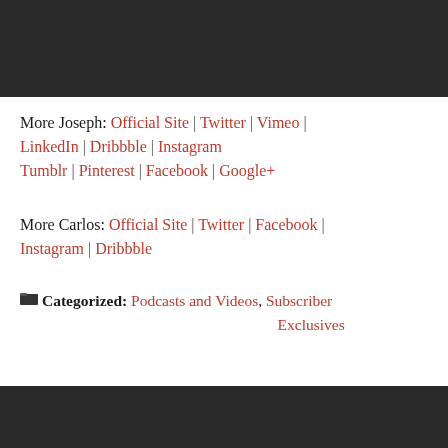[Figure (photo): Dark/black image at the top of the page]
More Joseph: Official Site | Twitter | Vimeo | LinkedIn | Dribbble | Instagram Tumblr | Pinterest | Facebook | Google+
More Carlos: Official Site | Twitter | Facebook | Instagram | Dribbble
Categorized: Podcasts and Videos, Subscriber Exclusives
[Figure (photo): Dark image at the bottom of the page, partially visible]